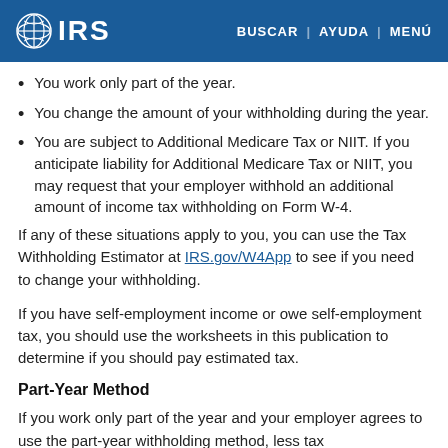IRS | BUSCAR | AYUDA | MENÚ
You work only part of the year.
You change the amount of your withholding during the year.
You are subject to Additional Medicare Tax or NIIT. If you anticipate liability for Additional Medicare Tax or NIIT, you may request that your employer withhold an additional amount of income tax withholding on Form W-4.
If any of these situations apply to you, you can use the Tax Withholding Estimator at IRS.gov/W4App to see if you need to change your withholding.
If you have self-employment income or owe self-employment tax, you should use the worksheets in this publication to determine if you should pay estimated tax.
Part-Year Method
If you work only part of the year and your employer agrees to use the part-year withholding method, less tax